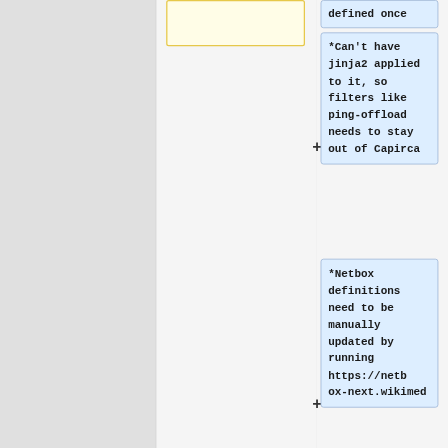[Figure (flowchart): Partial flowchart diagram showing a yellow box fragment at top left of the right column, a plus sign connector, a blue note box with text about jinja2/Capirca constraint, another plus sign connector, and a blue note box about Netbox definitions needing manual update via URL.]
defined once
*Can't have jinja2 applied to it, so filters like ping-offload needs to stay out of Capirca
*Netbox definitions need to be manually updated by running https://netbox-next.wikimed